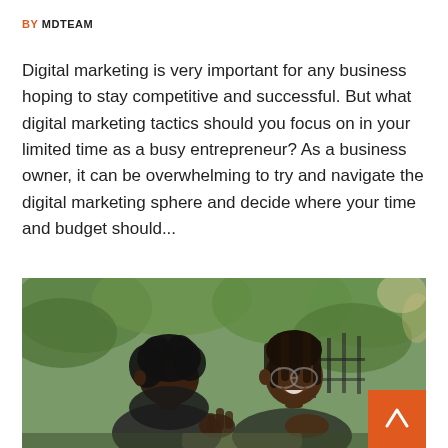BY MDTEAM
Digital marketing is very important for any business hoping to stay competitive and successful. But what digital marketing tactics should you focus on in your limited time as a busy entrepreneur? As a business owner, it can be overwhelming to try and navigate the digital marketing sphere and decide where your time and budget should...
[Figure (photo): Two women of African descent sitting outdoors in a garden/patio setting, engaged in conversation. One woman has curly hair and is gesturing with her hand; the other has dreadlocks and is smiling. Green foliage is visible in the background. An orange scroll-to-top button with a caret/arrow icon is overlaid in the bottom-right corner of the image.]